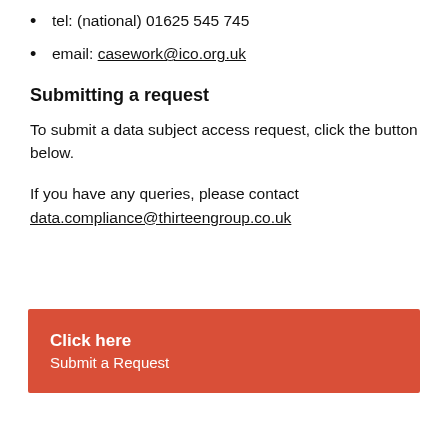tel: (national) 01625 545 745
email: casework@ico.org.uk
Submitting a request
To submit a data subject access request, click the button below.
If you have any queries, please contact data.compliance@thirteengroup.co.uk
[Figure (other): Red button with white text: 'Click here / Submit a Request']